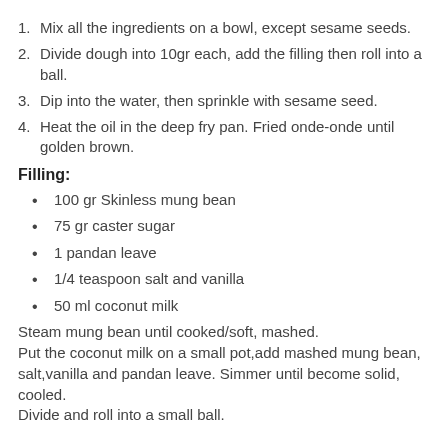1. Mix all the ingredients on a bowl, except sesame seeds.
2. Divide dough into 10gr each, add the filling then roll into a ball.
3. Dip into the water, then sprinkle with sesame seed.
4. Heat the oil in the deep fry pan. Fried onde-onde until golden brown.
Filling:
100 gr Skinless mung bean
75 gr caster sugar
1 pandan leave
1/4 teaspoon salt and vanilla
50 ml coconut milk
Steam mung bean until cooked/soft, mashed.
Put the coconut milk on a small pot,add mashed mung bean, salt,vanilla and pandan leave. Simmer until become solid, cooled.
Divide and roll into a small ball.